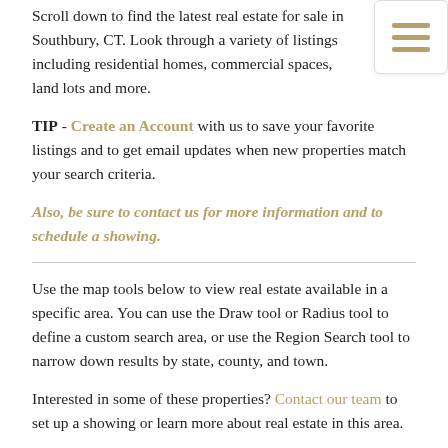Scroll down to find the latest real estate for sale in Southbury, CT. Look through a variety of listings including residential homes, commercial spaces, land lots and more.
TIP - Create an Account with us to save your favorite listings and to get email updates when new properties match your search criteria.
Also, be sure to contact us for more information and to schedule a showing.
Use the map tools below to view real estate available in a specific area. You can use the Draw tool or Radius tool to define a custom search area, or use the Region Search tool to narrow down results by state, county, and town.
Interested in some of these properties? Contact our team to set up a showing or learn more about real estate in this area.